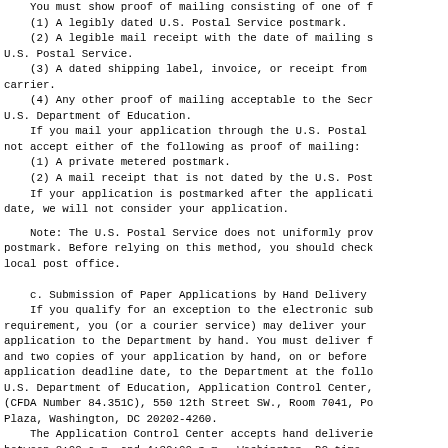You must show proof of mailing consisting of one of f
    (1) A legibly dated U.S. Postal Service postmark.
    (2) A legible mail receipt with the date of mailing s
U.S. Postal Service.
    (3) A dated shipping label, invoice, or receipt from
carrier.
    (4) Any other proof of mailing acceptable to the Secr
U.S. Department of Education.
    If you mail your application through the U.S. Postal
not accept either of the following as proof of mailing:
    (1) A private metered postmark.
    (2) A mail receipt that is not dated by the U.S. Post
    If your application is postmarked after the applicati
date, we will not consider your application.
Note: The U.S. Postal Service does not uniformly pro
postmark. Before relying on this method, you should check
local post office.
c. Submission of Paper Applications by Hand Delivery
    If you qualify for an exception to the electronic sub
requirement, you (or a courier service) may deliver your
application to the Department by hand. You must deliver f
and two copies of your application by hand, on or before
application deadline date, to the Department at the follo
U.S. Department of Education, Application Control Center,
(CFDA Number 84.351C), 550 12th Street SW., Room 7041, Po
Plaza, Washington, DC 20202-4260.
    The Application Control Center accepts hand deliverie
between 8:00 a.m. and 4:30:00 p.m., Washington, DC time